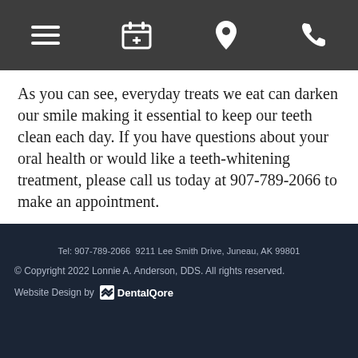[Navigation bar with menu, appointment, location, and phone icons]
As you can see, everyday treats we eat can darken our smile making it essential to keep our teeth clean each day. If you have questions about your oral health or would like a teeth-whitening treatment, please call us today at 907-789-2066 to make an appointment.
Tel: 907-789-2066  9211 Lee Smith Drive, Juneau, AK 99801
© Copyright 2022 Lonnie A. Anderson, DDS. All rights reserved.
Website Design by DentalQore
facebook  G  YouTube  Yelp